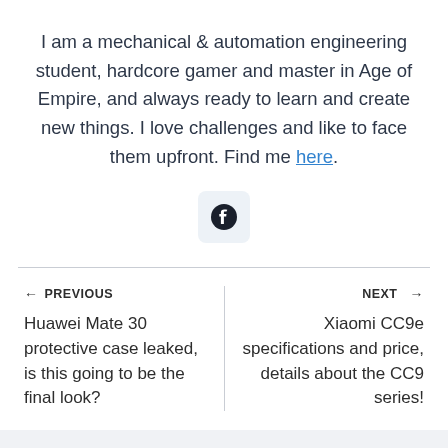I am a mechanical & automation engineering student, hardcore gamer and master in Age of Empire, and always ready to learn and create new things. I love challenges and like to face them upfront. Find me here.
[Figure (logo): Facebook social media icon button — circular Facebook 'f' logo on a light gray rounded square button]
← PREVIOUS
Huawei Mate 30 protective case leaked, is this going to be the final look?
NEXT →
Xiaomi CC9e specifications and price, details about the CC9 series!